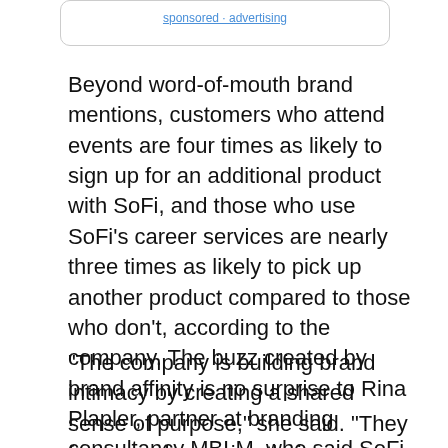Beyond word-of-mouth brand mentions, customers who attend events are four times as likely to sign up for an additional product with SoFi, and those who use SoFi’s career services are nearly three times as likely to pick up another product compared to those who don’t, according to the company. The buzz created by brand affinity is no surprise to Rina Plapler, partner at branding consultancy MBLM, who said SoFi is creating an emotive, community feel among customers and would-be customers.
“The company is building brand intimacy by creating a shared sense of purpose,” she said. “They focus on deepening their relationships through value added offerings and a sense of